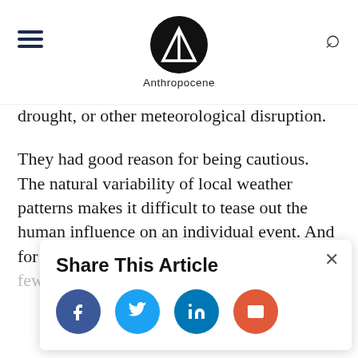Anthropocene
drought, or other meteorological disruption.
They had good reason for being cautious. The natural variability of local weather patterns makes it difficult to tease out the human influence on an individual event. And for most parts of the globe we have only a few decades' worth of detailed [data], so it's hard to know when dramatic weather is really [unusual].
[Figure (infographic): Share This Article popup overlay with Facebook, Twitter, LinkedIn, and email share buttons, and a close (×) button.]